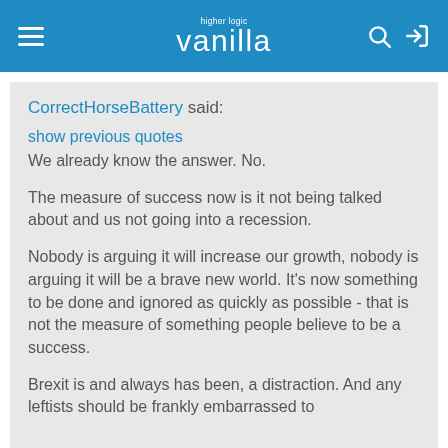higher logic vanilla
CorrectHorseBattery said:
show previous quotes
We already know the answer. No.

The measure of success now is it not being talked about and us not going into a recession.

Nobody is arguing it will increase our growth, nobody is arguing it will be a brave new world. It's now something to be done and ignored as quickly as possible - that is not the measure of something people believe to be a success.

Brexit is and always has been, a distraction. And any leftists should be frankly embarrassed to